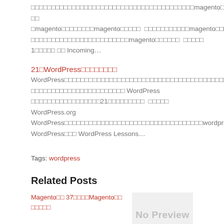□□□□□□□□□□□□□□□□□□□□□□□□□□□□□□□□□□□□□□□□magento□□□□□□□magento□□□□ □□ □magento□□□□□□□□magento□□□□□　□□□□□□□□□□□magento□□□□□□□□□□□□□□□□□ □□□□□□□□□□□□□□□□□□□□□□□□magento□□□□□□　 □□□□□ 1□□□□□ □□ Incoming…
21□WordPress□□□□□□□□
WordPress□□□□□□□□□□□□□□□□□□□□□□□□□□□□□□□□□□□□□□□□ □□□□□□□□□□□□□□□□□□□□□□□ WordPress □□□□□□□□□□□□□□□□□21□□□□□□□□□　 □□□□□ WordPress.org WordPress□□□□□□□□□□□□□□□□□□□□□□□□□□□□□□□□□□wordpress.org□□□□□□□□□□ WordPress□□□ WordPress Lessons…
Tags: wordpress
Related Posts
Magento□□ 37□□□□Magento□□ □□□□□
[Figure (other): No Preview placeholder image on the right side]